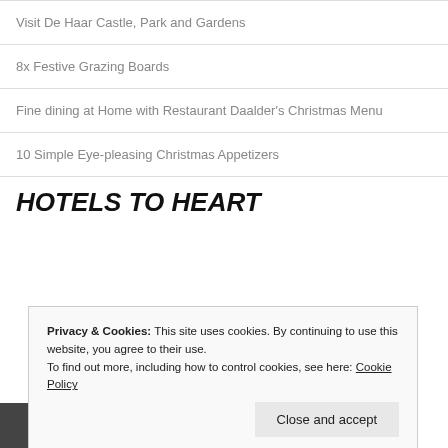Visit De Haar Castle, Park and Gardens
8x Festive Grazing Boards
Fine dining at Home with Restaurant Daalder's Christmas Menu
10 Simple Eye-pleasing Christmas Appetizers
HOTELS TO HEART
Privacy & Cookies: This site uses cookies. By continuing to use this website, you agree to their use.
To find out more, including how to control cookies, see here: Cookie Policy
Close and accept
HOTEL TO HEART: NOMADE HOTEL IN